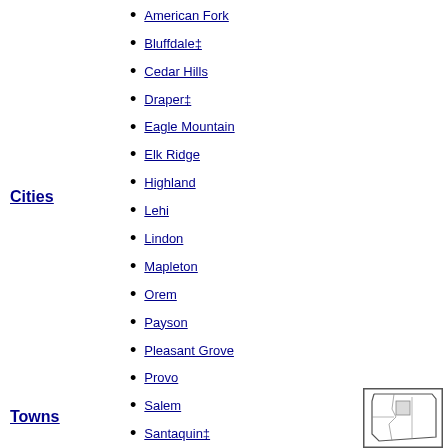American Fork
Bluffdale‡
Cedar Hills
Draper‡
Eagle Mountain
Elk Ridge
Highland
Lehi
Lindon
Mapleton
Cities
Orem
Payson
Pleasant Grove
Provo
Salem
Santaquin‡
Saratoga Springs
Spanish Fork
Springville
Vineyard
Woodland Hills
Cedar Fort
Fairfield
Towns
Genola
[Figure (map): Small outline map of Utah county region]